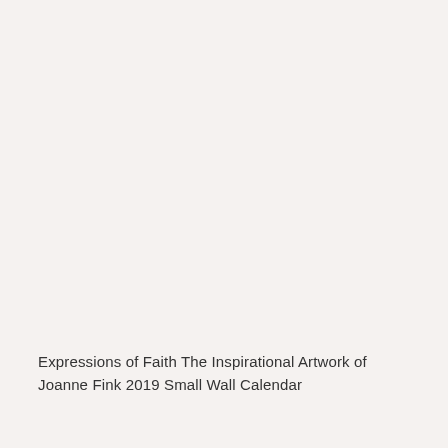Expressions of Faith The Inspirational Artwork of Joanne Fink 2019 Small Wall Calendar